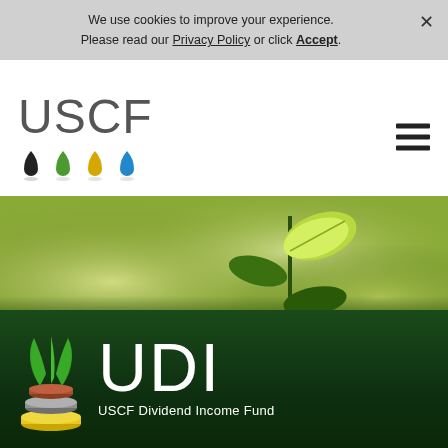We use cookies to improve your experience. Please read our Privacy Policy or click Accept.
[Figure (logo): USCF logo with text 'USCF' in gray and four colored drop icons below (black, green, yellow, blue)]
[Figure (photo): Bokeh nature background with green plant seedling with illuminated leaf in sunlight]
[Figure (logo): UDI - USCF Dividend Income Fund logo: plant/coin stack icon with large white 'UDI' text and subtitle 'USCF Dividend Income Fund' on dark green background]